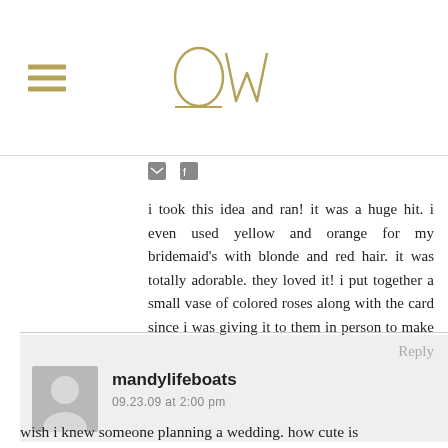OW (logo with hamburger menu)
i took this idea and ran! it was a huge hit. i even used yellow and orange for my bridemaid's with blonde and red hair. it was totally adorable. they loved it! i put together a small vase of colored roses along with the card since i was giving it to them in person to make it extra special.
Reply
mandylifeboats
09.23.09 at 2:00 pm
wish i knew someone planning a wedding. how cute is